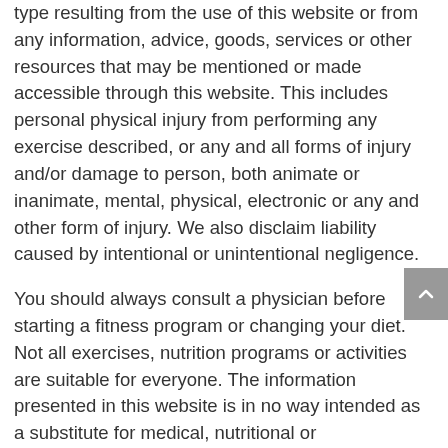type resulting from the use of this website or from any information, advice, goods, services or other resources that may be mentioned or made accessible through this website. This includes personal physical injury from performing any exercise described, or any and all forms of injury and/or damage to person, both animate or inanimate, mental, physical, electronic or any and other form of injury. We also disclaim liability caused by intentional or unintentional negligence.
You should always consult a physician before starting a fitness program or changing your diet. Not all exercises, nutrition programs or activities are suitable for everyone. The information presented in this website is in no way intended as a substitute for medical, nutritional or psychological counselling.
All information contained on dynamicstrengthphysio.com.au, including information relating to medical and health conditions, products,